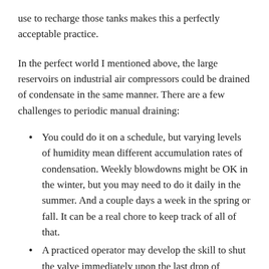use to recharge those tanks makes this a perfectly acceptable practice.
In the perfect world I mentioned above, the large reservoirs on industrial air compressors could be drained of condensate in the same manner. There are a few challenges to periodic manual draining:
You could do it on a schedule, but varying levels of humidity mean different accumulation rates of condensation. Weekly blowdowns might be OK in the winter, but you may need to do it daily in the summer. And a couple days a week in the spring or fall. It can be a real chore to keep track of all of that.
A practiced operator may develop the skill to shut the valve immediately upon the last drop of condensate passing. More often than not, though, you're going to lose